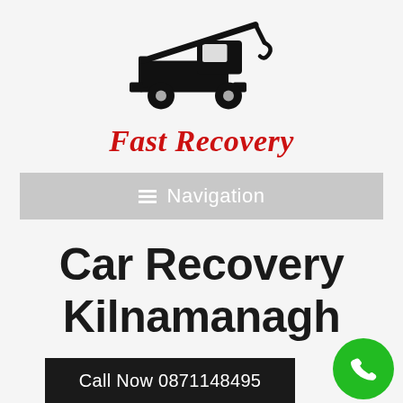[Figure (illustration): Black silhouette icon of a tow truck facing right with a crane/hook arm]
Fast Recovery
Navigation
Car Recovery Kilnamanagh
Call Now 0871148495